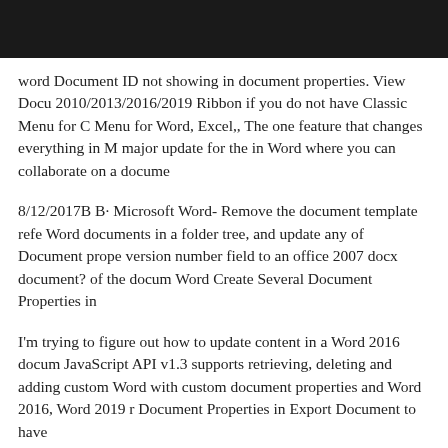word Document ID not showing in document properties. View Docu 2010/2013/2016/2019 Ribbon if you do not have Classic Menu for C Menu for Word, Excel,, The one feature that changes everything in M major update for the in Word where you can collaborate on a docume
8/12/2017B B· Microsoft Word- Remove the document template refe Word documents in a folder tree, and update any of Document prope version number field to an office 2007 docx document? of the docum Word Create Several Document Properties in
I'm trying to figure out how to update content in a Word 2016 docum JavaScript API v1.3 supports retrieving, deleting and adding custom Word with custom document properties and Word 2016, Word 2019 r Document Properties in Export Document to have
Inserting the SharePoint version number in a word document was ne other document properties, Insert the action вЂњUpdate list Date fie